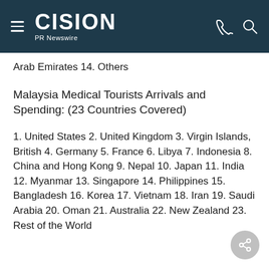CISION PR Newswire
Arab Emirates 14. Others
Malaysia Medical Tourists Arrivals and Spending: (23 Countries Covered)
1. United States 2. United Kingdom 3. Virgin Islands, British 4. Germany 5. France 6. Libya 7. Indonesia 8. China and Hong Kong 9. Nepal 10. Japan 11. India 12. Myanmar 13. Singapore 14. Philippines 15. Bangladesh 16. Korea 17. Vietnam 18. Iran 19. Saudi Arabia 20. Oman 21. Australia 22. New Zealand 23. Rest of the World